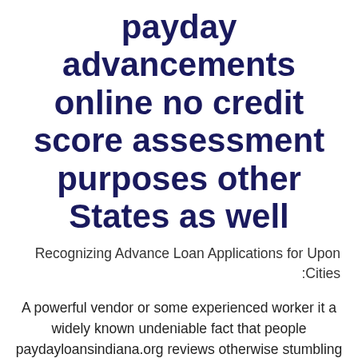payday advancements online no credit score assessment purposes other States as well
Recognizing Advance Loan Applications for Upon Cities:
A powerful vendor or some experienced worker it a widely known undeniable fact that people paydayloansindiana.org reviews otherwise stumbling out of funds from time for you to efforts whether the guy . The unanticipated economic price can hit your